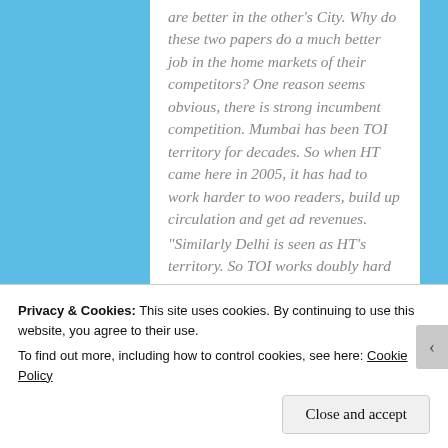are better in the other's City. Why do these two papers do a much better job in the home markets of their competitors? One reason seems obvious, there is strong incumbent competition. Mumbai has been TOI territory for decades. So when HT came here in 2005, it has had to work harder to woo readers, build up circulation and get ad revenues.
“Similarly Delhi is seen as HT’s territory. So TOI works doubly hard there… So competition always eggs
Privacy & Cookies: This site uses cookies. By continuing to use this website, you agree to their use.
To find out more, including how to control cookies, see here: Cookie Policy